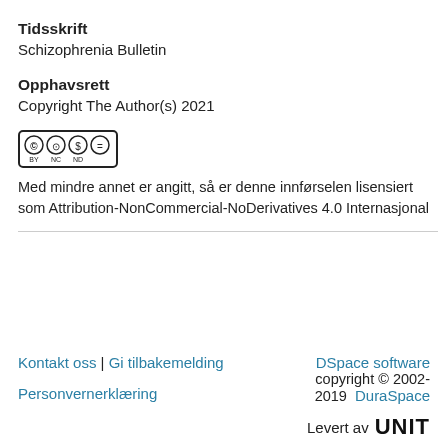Tidsskrift
Schizophrenia Bulletin
Opphavsrett
Copyright The Author(s) 2021
[Figure (logo): Creative Commons BY-NC-ND license badge with CC, person, dollar-circle, and ND symbols in a black-bordered box]
Med mindre annet er angitt, så er denne innførselen lisensiert som Attribution-NonCommercial-NoDerivatives 4.0 Internasjonal
Kontakt oss | Gi tilbakemelding
Personvernerklæring
DSpace software copyright © 2002-2019  DuraSpace
Levert av UNIT